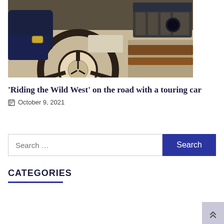[Figure (photo): Interior of a Mercedes-Benz luxury car, showing a person's hand on the steering wheel with the Mercedes star logo visible. The dashboard, air vents, and console are visible in the background.]
'Riding the Wild West' on the road with a touring car
📅 October 9, 2021
Search …
CATEGORIES